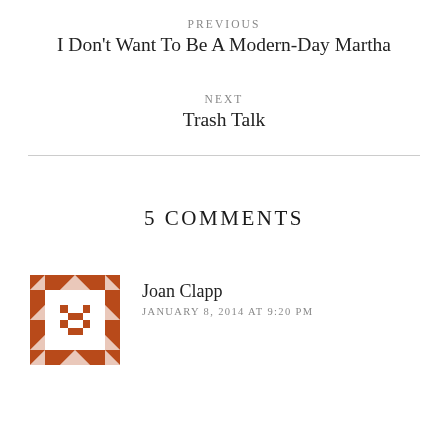PREVIOUS
I Don't Want To Be A Modern-Day Martha
NEXT
Trash Talk
5 COMMENTS
[Figure (illustration): Geometric quilt-pattern avatar in russet/brown on white background, square grid of triangles and rectangles]
Joan Clapp
JANUARY 8, 2014 AT 9:20 PM